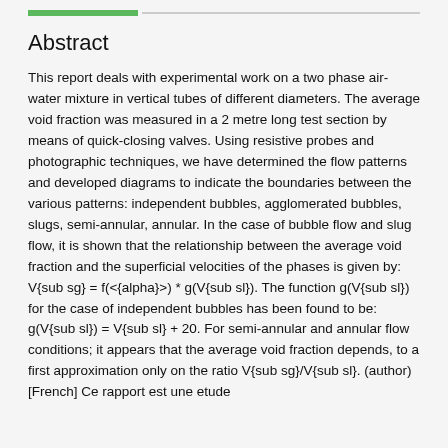Abstract
This report deals with experimental work on a two phase air-water mixture in vertical tubes of different diameters. The average void fraction was measured in a 2 metre long test section by means of quick-closing valves. Using resistive probes and photographic techniques, we have determined the flow patterns and developed diagrams to indicate the boundaries between the various patterns: independent bubbles, agglomerated bubbles, slugs, semi-annular, annular. In the case of bubble flow and slug flow, it is shown that the relationship between the average void fraction and the superficial velocities of the phases is given by: V{sub sg} = f(<{alpha}>) * g(V{sub sl}). The function g(V{sub sl}) for the case of independent bubbles has been found to be: g(V{sub sl}) = V{sub sl} + 20. For semi-annular and annular flow conditions; it appears that the average void fraction depends, to a first approximation only on the ratio V{sub sg}/V{sub sl}. (author) [French] Ce rapport est une etude